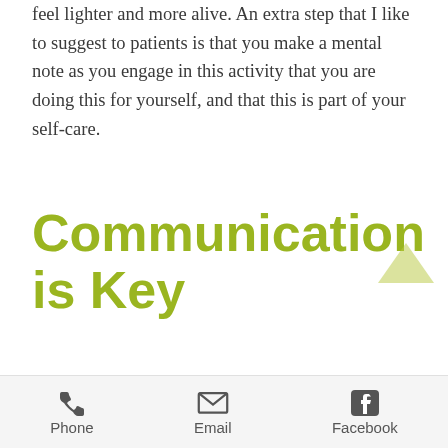feel lighter and more alive. An extra step that I like to suggest to patients is that you make a mental note as you engage in this activity that you are doing this for yourself, and that this is part of your self-care.
Communication is Key
Enough cannot be said for healthy communication in a relationship. This helps prevent tension between you and your partner and will help nip any potential issues in the bud. I know that
Phone   Email   Facebook